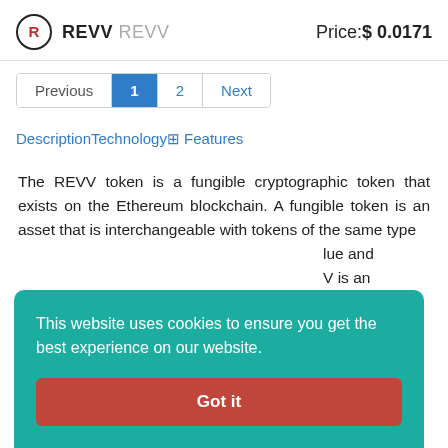REVV REVV   Price: $ 0.0171
Previous  1  2  Next
Description Technology Features
The REVV token is a fungible cryptographic token that exists on the Ethereum blockchain. A fungible token is an asset that is interchangeable with tokens of the same type ... lue and ... V is an ... rency of ... -to-earn
This website uses cookies to ensure you get the best experience on our website. Got it